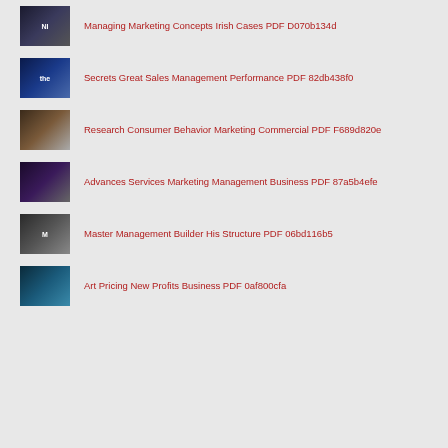Managing Marketing Concepts Irish Cases PDF D070b134d
Secrets Great Sales Management Performance PDF 82db438f0
Research Consumer Behavior Marketing Commercial PDF F689d820e
Advances Services Marketing Management Business PDF 87a5b4efe
Master Management Builder His Structure PDF 06bd116b5
Art Pricing New Profits Business PDF 0af800cfa